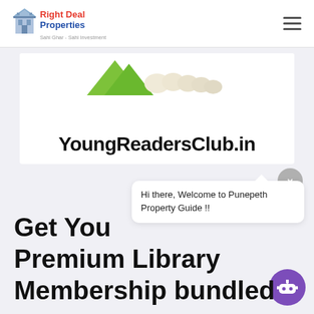[Figure (logo): Right Deal Properties logo with building icon, red 'Right Deal' text, blue 'Properties' text, and tagline 'Sahi Ghar - Sahi Investment']
[Figure (screenshot): YoungReadersClub.in banner with illustrated characters at top and bold site name text]
Hi there, Welcome to Punepeth Property Guide !!
Get You Premium Library Membership bundled